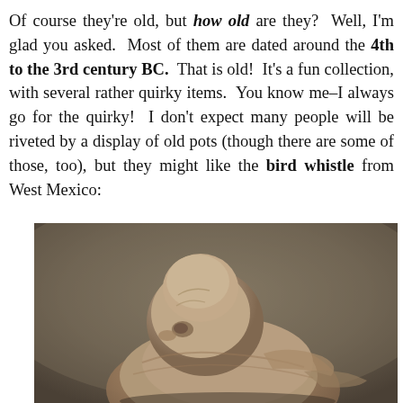Of course they're old, but how old are they? Well, I'm glad you asked. Most of them are dated around the 4th to the 3rd century BC. That is old! It's a fun collection, with several rather quirky items. You know me–I always go for the quirky! I don't expect many people will be riveted by a display of old pots (though there are some of those, too), but they might like the bird whistle from West Mexico:
[Figure (photo): Close-up photograph of an ancient ceramic bird whistle artifact from West Mexico, showing a rounded stone or clay sculpture with a bird-like head, set against a muted brown-gray background.]